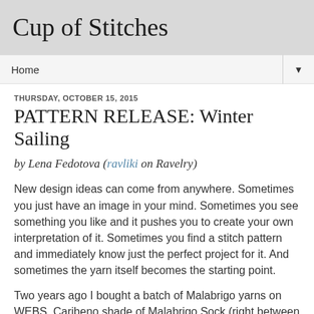Cup of Stitches
Home
THURSDAY, OCTOBER 15, 2015
PATTERN RELEASE: Winter Sailing
by Lena Fedotova (ravliki on Ravelry)
New design ideas can come from anywhere. Sometimes you just have an image in your mind. Sometimes you see something you like and it pushes you to create your own interpretation of it. Sometimes you find a stitch pattern and immediately know just the perfect project for it. And sometimes the yarn itself becomes the starting point.
Two years ago I bought a batch of Malabrigo yarns on WEBS. Caribeno shade of Malabrigo Sock (right between